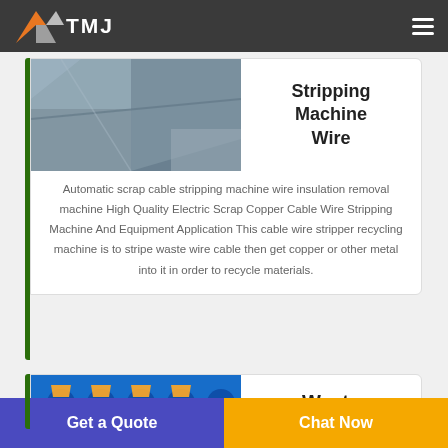[Figure (logo): TMJ company logo with orange/grey chevron icon and TMJ text on dark header bar]
[Figure (photo): Close-up photograph of a metallic machine interior surface, showing a wire stripping machine component]
Stripping Machine Wire
Automatic scrap cable stripping machine wire insulation removal machine High Quality Electric Scrap Copper Cable Wire Stripping Machine And Equipment Application This cable wire stripper recycling machine is to stripe waste wire cable then get copper or other metal into it in order to recycle materials.
[Figure (photo): Photograph of blue industrial machines, possibly wire recycling equipment]
Waste